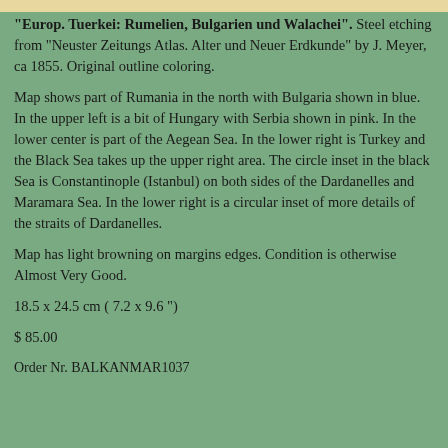"Europ. Tuerkei: Rumelien, Bulgarien und Walachei". Steel etching from "Neuster Zeitungs Atlas. Alter und Neuer Erdkunde" by J. Meyer, ca 1855. Original outline coloring.
Map shows part of Rumania in the north with Bulgaria shown in blue. In the upper left is a bit of Hungary with Serbia shown in pink. In the lower center is part of the Aegean Sea. In the lower right is Turkey and the Black Sea takes up the upper right area. The circle inset in the black Sea is Constantinople (Istanbul) on both sides of the Dardanelles and Maramara Sea. In the lower right is a circular inset of more details of the straits of Dardanelles.
Map has light browning on margins edges. Condition is otherwise Almost Very Good.
18.5 x 24.5 cm ( 7.2 x 9.6 ")
$ 85.00
Order Nr. BALKANMAR1037